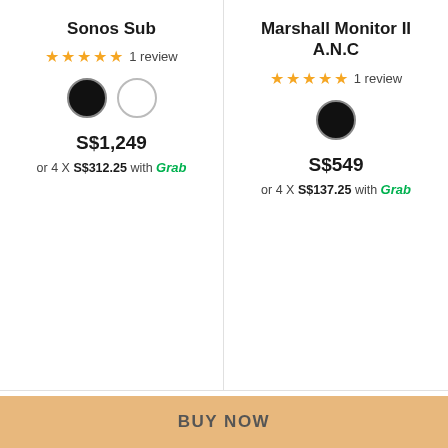Sonos Sub
★★★★★ 1 review
S$1,249
or 4 X S$312.25 with Grob
Marshall Monitor II A.N.C
★★★★★ 1 review
S$549
or 4 X S$137.25 with Grob
Recently Viewed
BUY NOW